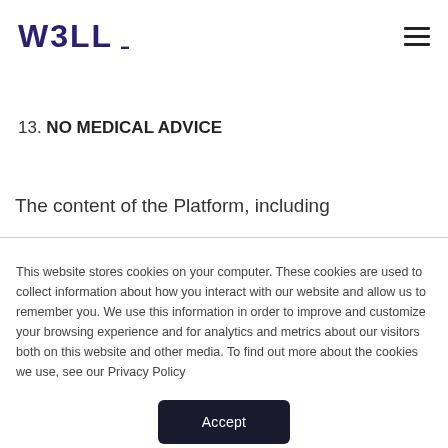W3LL [logo] [hamburger menu]
13. NO MEDICAL ADVICE
The content of the Platform, including
This website stores cookies on your computer. These cookies are used to collect information about how you interact with our website and allow us to remember you. We use this information in order to improve and customize your browsing experience and for analytics and metrics about our visitors both on this website and other media. To find out more about the cookies we use, see our Privacy Policy
Accept